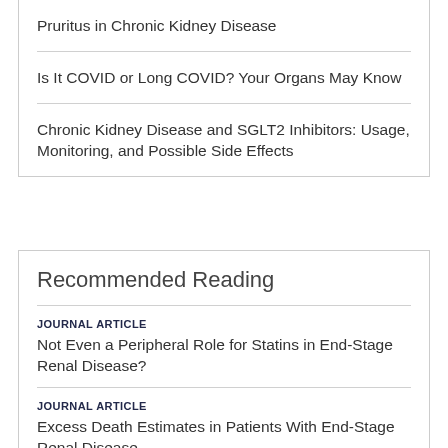Pruritus in Chronic Kidney Disease
Is It COVID or Long COVID? Your Organs May Know
Chronic Kidney Disease and SGLT2 Inhibitors: Usage, Monitoring, and Possible Side Effects
Recommended Reading
JOURNAL ARTICLE
Not Even a Peripheral Role for Statins in End-Stage Renal Disease?
JOURNAL ARTICLE
Excess Death Estimates in Patients With End-Stage Renal Disease